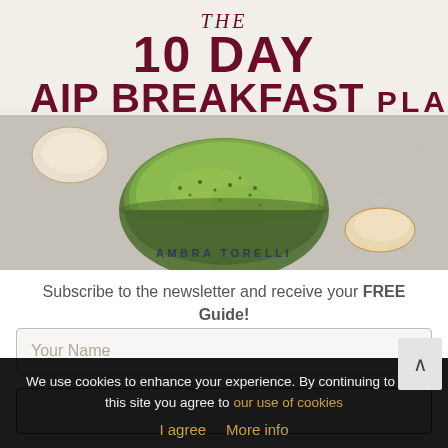[Figure (illustration): Book cover for 'The 10 Day AIP Breakfast Plan' by Ambra Torelli, showing a white bowl of green matcha drink with foamy surface, scattered coconut pieces on a light stone surface, with the title text overlaid at top. Dark red/maroon title text on light background.]
Subscribe to the newsletter and receive your FREE Guide!
Your Name
We use cookies to enhance your experience. By continuing to visit this site you agree to our use of cookies
I agree  More info